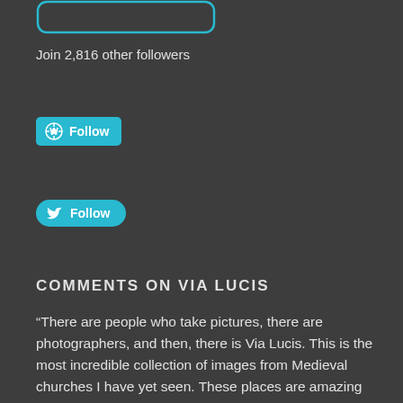[Figure (other): A teal/cyan rounded rectangle button outline at the top of the page, partially cropped]
Join 2,816 other followers
[Figure (other): WordPress Follow button - teal rounded rectangle with WordPress logo icon and 'Follow' text]
[Figure (other): Twitter Follow button - teal pill-shaped button with Twitter bird icon and 'Follow' text]
COMMENTS ON VIA LUCIS
“There are people who take pictures, there are photographers, and then, there is Via Lucis. This is the most incredible collection of images from Medieval churches I have yet seen. These places are amazing to start with, but what Dennis Aubrey and PJ McKey accomplish in these spaces with a camera is breathtaking."